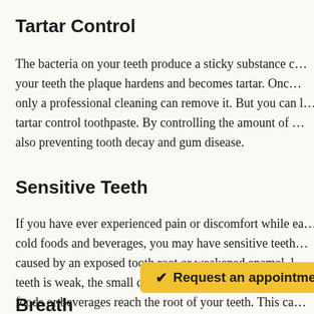Tartar Control
The bacteria on your teeth produce a sticky substance called plaque. When plaque stays on your teeth the plaque hardens and becomes tartar. Once tartar forms on your teeth, only a professional cleaning can remove it. But you can help prevent tartar build up by using a tartar control toothpaste. By controlling the amount of tartar on your teeth, you are also preventing tooth decay and gum disease.
Sensitive Teeth
If you have ever experienced pain or discomfort while eating or drinking hot or cold foods and beverages, you may have sensitive teeth. Sensitive teeth are often caused by an exposed tooth root or weakened enamel. When the enamel on your teeth is weak, the small canals, or tubules, are exposed and allow hot or cold foods or beverages reach the root of your teeth. This can cause pain and discomfort. A toothpaste for sensitive teeth helps to desensitize these nerves over time.
✔ Request an appointment!
Breath Fresho...